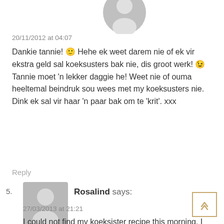[Figure (illustration): Gray avatar silhouette icon, cropped at top]
20/11/2012 at 04:07
Dankie tannie! 🙂 Hehe ek weet darem nie of ek vir ekstra geld sal koeksusters bak nie, dis groot werk! 😉 Tannie moet 'n lekker daggie he! Weet nie of ouma heeltemal beindruk sou wees met my koeksusters nie. Dink ek sal vir haar 'n paar bak om te 'krit'. xxx
Reply
5.
[Figure (illustration): Gray avatar silhouette icon for Rosalind]
Rosalind says:
27/03/2013 at 21:21
I could not find my koeksister recipe this morning. I googled another recipe and